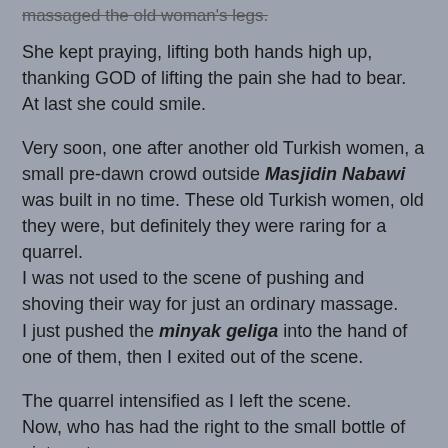massaged the old woman's legs.
She kept praying, lifting both hands high up, thanking GOD of lifting the pain she had to bear.
At last she could smile.
Very soon, one after another old Turkish women, a small pre-dawn crowd outside Masjidin Nabawi was built in no time. These old Turkish women, old they were, but definitely they were raring for a quarrel.
I was not used to the scene of pushing and shoving their way for just an ordinary massage.
I just pushed the minyak geliga into the hand of one of them, then I exited out of the scene.
The quarrel intensified as I left the scene.
Now, who has had the right to the small bottle of ointment...
I used to bring many bottles of local ointment for my Haj and Umrah.
But on that morning, there was only one bottle in my bag.
I thought nothing of the pre-subuh incident.